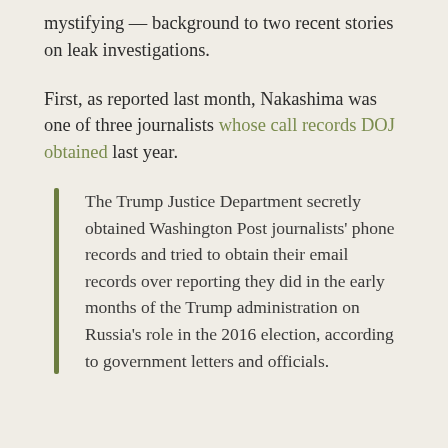mystifying — background to two recent stories on leak investigations.
First, as reported last month, Nakashima was one of three journalists whose call records DOJ obtained last year.
The Trump Justice Department secretly obtained Washington Post journalists' phone records and tried to obtain their email records over reporting they did in the early months of the Trump administration on Russia's role in the 2016 election, according to government letters and officials.